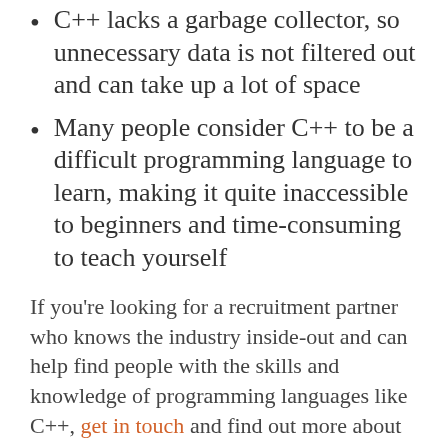C++ lacks a garbage collector, so unnecessary data is not filtered out and can take up a lot of space
Many people consider C++ to be a difficult programming language to learn, making it quite inaccessible to beginners and time-consuming to teach yourself
If you’re looking for a recruitment partner who knows the industry inside-out and can help find people with the skills and knowledge of programming languages like C++, get in touch and find out more about how we can help